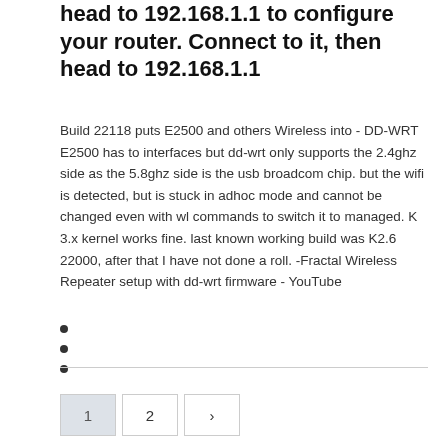head to 192.168.1.1 to configure your router. Connect to it, then head to 192.168.1.1
Build 22118 puts E2500 and others Wireless into - DD-WRT E2500 has to interfaces but dd-wrt only supports the 2.4ghz side as the 5.8ghz side is the usb broadcom chip. but the wifi is detected, but is stuck in adhoc mode and cannot be changed even with wl commands to switch it to managed. K 3.x kernel works fine. last known working build was K2.6 22000, after that I have not done a roll. -Fractal Wireless Repeater setup with dd-wrt firmware - YouTube